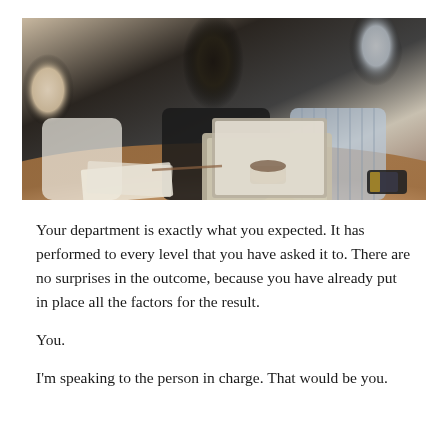[Figure (photo): Three business professionals gathered around a laptop at a desk, reviewing documents, with a coffee cup and smartphone visible on the table.]
Your department is exactly what you expected. It has performed to every level that you have asked it to. There are no surprises in the outcome, because you have already put in place all the factors for the result.
You.
I'm speaking to the person in charge. That would be you.